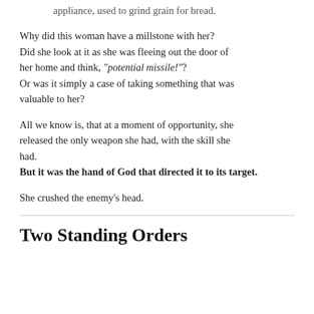appliance, used to grind grain for bread.
Why did this woman have a millstone with her? Did she look at it as she was fleeing out the door of her home and think, “potential missile!”? Or was it simply a case of taking something that was valuable to her?
All we know is, that at a moment of opportunity, she released the only weapon she had, with the skill she had.
But it was the hand of God that directed it to its target.
She crushed the enemy’s head.
Two Standing Orders